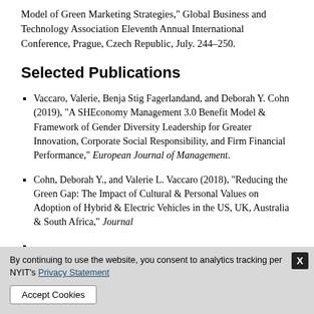Model of Green Marketing Strategies," Global Business and Technology Association Eleventh Annual International Conference, Prague, Czech Republic, July. 244–250.
Selected Publications
Vaccaro, Valerie, Benja Stig Fagerlandand, and Deborah Y. Cohn (2019), "A SHEconomy Management 3.0 Benefit Model & Framework of Gender Diversity Leadership for Greater Innovation, Corporate Social Responsibility, and Firm Financial Performance," European Journal of Management.
Cohn, Deborah Y., and Valerie L. Vaccaro (2018), "Reducing the Green Gap: The Impact of Cultural & Personal Values on Adoption of Hybrid & Electric Vehicles in the US, UK, Australia & South Africa," Journal
and James Henry Barns (2021), "Pleasant Music's Relationship to Congruence, Consumer Behavioral
By continuing to use the website, you consent to analytics tracking per NYIT's Privacy Statement
Accept Cookies